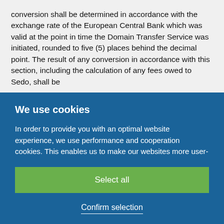conversion shall be determined in accordance with the exchange rate of the European Central Bank which was valid at the point in time the Domain Transfer Service was initiated, rounded to five (5) places behind the decimal point. The result of any conversion in accordance with this section, including the calculation of any fees owed to Sedo, shall be
We use cookies
In order to provide you with an optimal website experience, we use performance and cooperation cookies. This enables us to make our websites more user-friendly and to display personalized offers. By clicking "Select all" you declare your consent that Sedo GmbH
Select all
Confirm selection